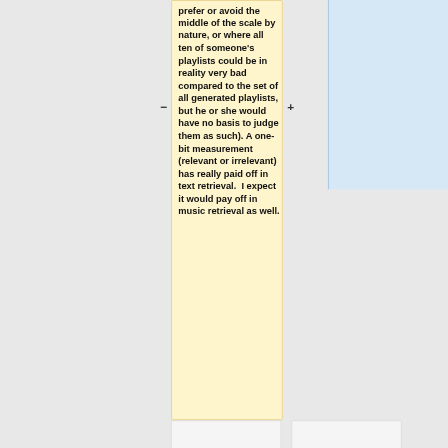prefer or avoid the middle of the scale by nature, or where all ten of someone's playlists could be in reality very bad compared to the set of all generated playlists, but he or she would have no basis to judge them as such). A one-bit measurement (relevant or irrelevant) has really paid off in text retrieval.  I expect it would pay off in music retrieval as well.